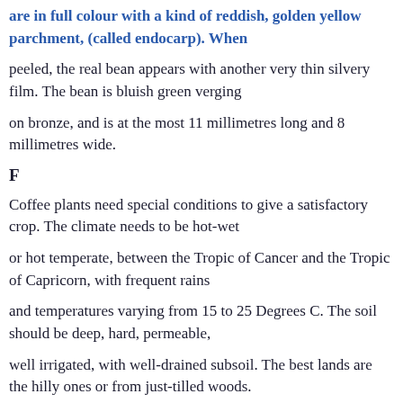are in full colour with a kind of reddish, golden yellow parchment, (called endocarp). When
peeled, the real bean appears with another very thin silvery film. The bean is bluish green verging
on bronze, and is at the most 11 millimetres long and 8 millimetres wide.
F
Coffee plants need special conditions to give a satisfactory crop. The climate needs to be hot-wet
or hot temperate, between the Tropic of Cancer and the Tropic of Capricorn, with frequent rains
and temperatures varying from 15 to 25 Degrees C. The soil should be deep, hard, permeable,
well irrigated, with well-drained subsoil. The best lands are the hilly ones or from just-tilled woods.
The perfect altitude is between 600 and 1200 metres, though some varieties thrive at 2000-2200
metres. Cultivation aimed at protecting the plants at every stage of